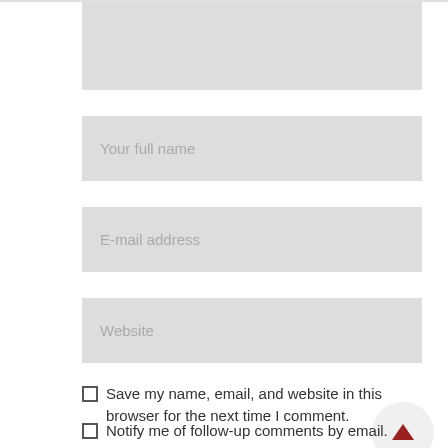[Figure (screenshot): Web form with input fields: a comment textarea (cropped at top), Your full name, E-mail address, Website, a checkbox for saving name/email/website in browser, and a checkbox for follow-up comment notifications. A scroll-to-top button (red arrow) is visible on the right.]
Your full name
E-mail address
Website
Save my name, email, and website in this browser for the next time I comment.
Notify me of follow-up comments by email.